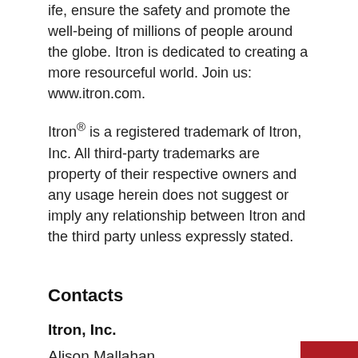ife, ensure the safety and promote the well-being of millions of people around the globe. Itron is dedicated to creating a more resourceful world. Join us: www.itron.com.
Itron® is a registered trademark of Itron, Inc. All third-party trademarks are property of their respective owners and any usage herein does not suggest or imply any relationship between Itron and the third party unless expressly stated.
Contacts
Itron, Inc.
Alison Mallahan
Senior PR Manager